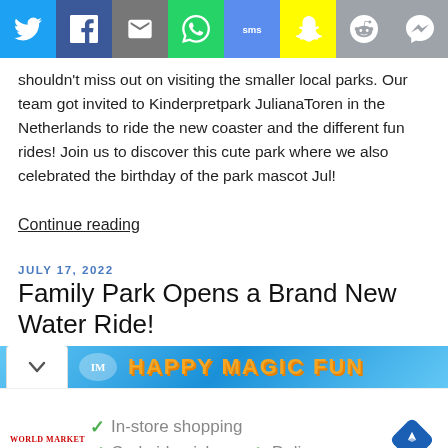[Figure (screenshot): Social sharing bar with icons for Twitter, Facebook, Email, WhatsApp, SMS, Snapchat, Reddit, and Messenger]
shouldn't miss out on visiting the smaller local parks. Our team got invited to Kinderpretpark JulianaToren in the Netherlands to ride the new coaster and the different fun rides! Join us to discover this cute park where we also celebrated the birthday of the park mascot Jul!
Continue reading
JULY 17, 2022
Family Park Opens a Brand New Water Ride!
[Figure (screenshot): Colorful amusement park banner with text HAPPY MAGIC FUN on blue background with logo]
[Figure (screenshot): Advertisement for World Market with checkmarks: In-store shopping, Curbside pickup, Delivery with navigation diamond icon]